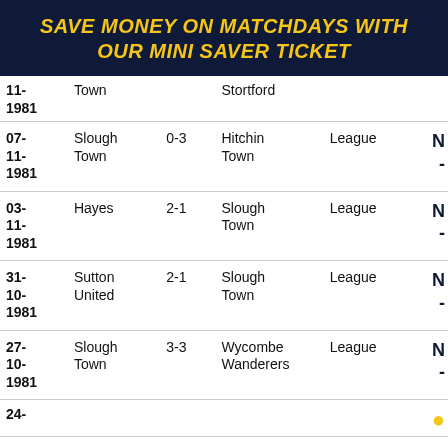SAVE MONEY ON MATCHDAYS WITH OUR MINI SAVER TICKET
| Date | Home | Score | Away | Competition |  |
| --- | --- | --- | --- | --- | --- |
| 11-[cont]
1981 | Town |  | Stortford |  |  |
| 07-11-1981 | Slough Town | 0-3 | Hitchin Town | League | N |
| 03-11-1981 | Hayes | 2-1 | Slough Town | League | N |
| 31-10-1981 | Sutton United | 2-1 | Slough Town | League | N |
| 27-10-1981 | Slough Town | 3-3 | Wycombe Wanderers | League | N |